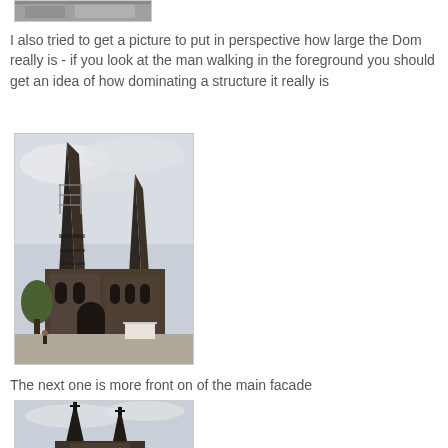[Figure (photo): Partial top of a photo showing a building or structure, cropped at top of page]
I also tried to get a picture to put in perspective how large the Dom really is - if you look at the man walking in the foreground you should get an idea of how dominating a structure it really is
[Figure (photo): Photo of Cologne Cathedral (Dom) taken from a low angle showing the towering Gothic spires and facade with a small figure of a man walking in the foreground plaza]
The next one is more front on of the main facade
[Figure (photo): Partial photo of Cologne Cathedral front facade/spires, cut off at bottom of page]